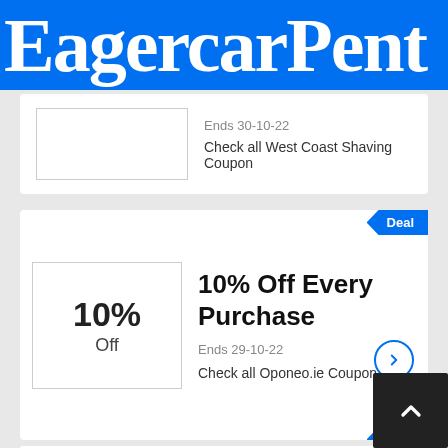EagercarPent
Ends 30-10-22
Check all West Coast Shaving Coupon
Deal
10% Off Every Purchase
Ends 29-10-22
Check all Oponeo.ie Coupon
10% Off Hanes Student Discount At Hanes